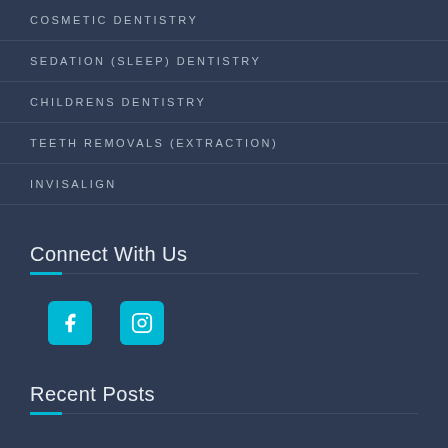COSMETIC DENTISTRY
SEDATION (SLEEP) DENTISTRY
CHILDRENS DENTISTRY
TEETH REMOVALS (EXTRACTION)
INVISALIGN
Connect With Us
[Figure (illustration): Facebook and Instagram social media icons in cyan/teal color]
Recent Posts